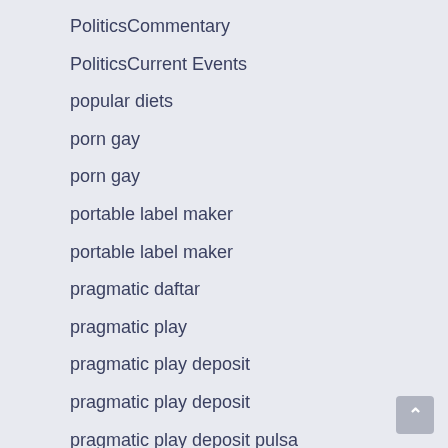PoliticsCommentary
PoliticsCurrent Events
popular diets
porn gay
porn gay
portable label maker
portable label maker
pragmatic daftar
pragmatic play
pragmatic play deposit
pragmatic play deposit
pragmatic play deposit pulsa
pragmatic play login
pragmaticplay
pragmaticplay.com